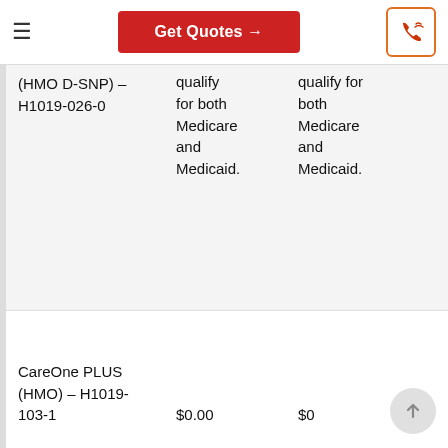Get Quotes →
| Plan | Monthly Premium |  |
| --- | --- | --- |
| (HMO D-SNP) – H1019-026-0 | qualify for both Medicare and Medicaid. | qualify for both Medicare and Medicaid. |
| CareOne PLUS (HMO) – H1019-103-1 | $0.00 | $0 |